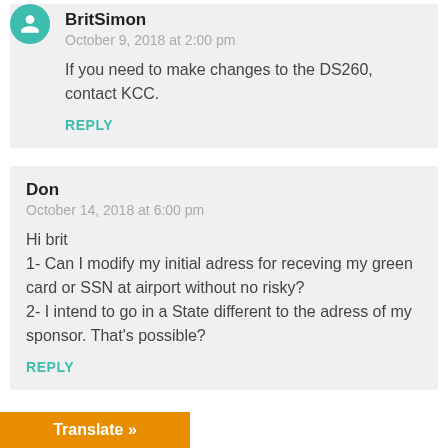BritSimon
October 9, 2018 at 2:00 pm
If you need to make changes to the DS260, contact KCC.
REPLY
Don
October 14, 2018 at 6:00 pm
Hi brit
1- Can I modify my initial adress for receving my green card or SSN at airport without no risky?
2- I intend to go in a State different to the adress of my sponsor. That's possible?
REPLY
Translate »